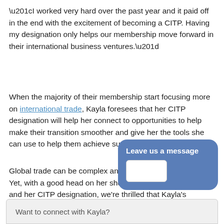“I worked very hard over the past year and it paid off in the end with the excitement of becoming a CITP. Having my designation only helps our membership move forward in their international business ventures.”
When the majority of their membership start focusing more on international trade, Kayla foresees that her CITP designation will help her connect to opportunities to help make their transition smoother and give her the tools she can use to help them achieve success.
Global trade can be complex and it’s not all smooth sailing. Yet, with a good head on her shoulders, a solid education and her CITP designation, we’re thrilled that Kayla’s embarked on a professional journey of a lifetime.
[Figure (screenshot): Chat widget with 'Leave us a message' label and an empty input field, styled with a blue rounded rectangle background.]
Want to connect with Kayla?